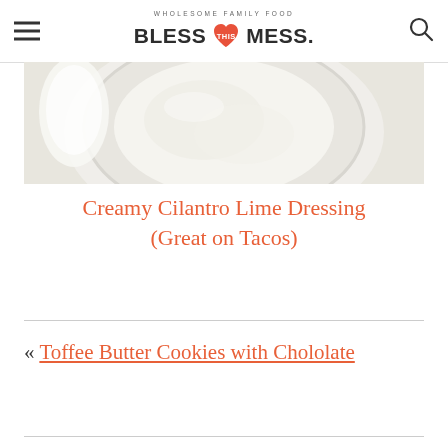WHOLESOME FAMILY FOOD | BLESS THIS MESS.
[Figure (photo): Partial top view of creamy cilantro lime dressing in a bowl, light greenish-white colored, on a wooden surface]
Creamy Cilantro Lime Dressing (Great on Tacos)
« Toffee Butter Cookies with Chololate